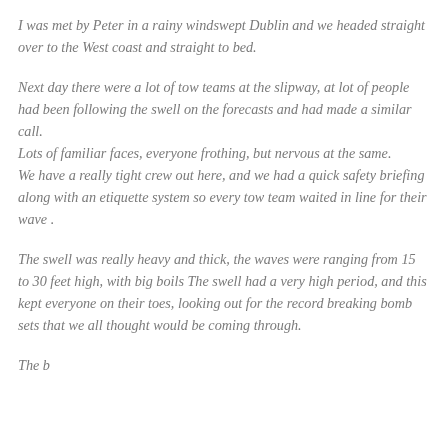I was met by Peter in a rainy windswept Dublin and we headed straight over to the West coast and straight to bed.
Next day there were a lot of tow teams at the slipway, at lot of people had been following the swell on the forecasts and had made a similar call.
Lots of familiar faces, everyone frothing, but nervous at the same.
We have a really tight crew out here, and we had a quick safety briefing along with an etiquette system so every tow team waited in line for their wave .
The swell was really heavy and thick, the waves were ranging from 15 to 30 feet high, with big boils The swell had a very high period, and this kept everyone on their toes, looking out for the record breaking bomb sets that we all thought would be coming through.
The b...